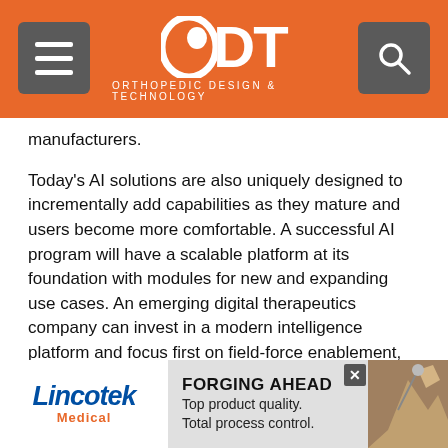ODT — Orthopedic Design & Technology
manufacturers.
Today's AI solutions are also uniquely designed to incrementally add capabilities as they mature and users become more comfortable. A successful AI program will have a scalable platform at its foundation with modules for new and expanding use cases. An emerging digital therapeutics company can invest in a modern intelligence platform and focus first on field-force enablement, then unlock other modules or capabilities like marketing automation, content selection, and channel orchestration.
“The pandemic slowed some innovation, naturally, but our industry must get better at building one-to-one relationships with customers. We need to understand
[Figure (screenshot): Lincotek Medical advertisement banner: 'FORGING AHEAD — Top product quality. Total process control.']